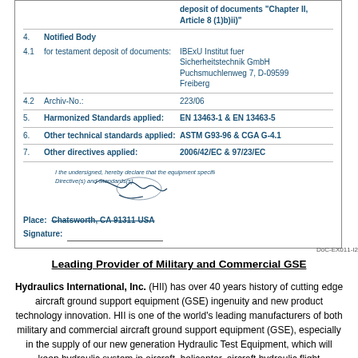|  |  | deposit of documents "Chapter II, Article 8 (1)b)ii)" |
| 4. | Notified Body |  |
| 4.1 | for testament deposit of documents: | IBExU Institut fuer Sicherheitstechnik GmbH Puchsmuchlenweg 7, D-09599 Freiberg |
| 4.2 | Archiv-No.: | 223/06 |
| 5. | Harmonized Standards applied: | EN 13463-1 & EN 13463-5 |
| 6. | Other technical standards applied: | ASTM G93-96 & CGA G-4.1 |
| 7. | Other directives applied: | 2006/42/EC & 97/23/EC |
I the undersigned, hereby declare that the equipment specified above conforms to the above Directive(s) and Standards(s).
Place: Chatsworth, CA 91311 USA
Signature:
DoC-EX011-I2
Leading Provider of Military and Commercial GSE
Hydraulics International, Inc. (HII) has over 40 years history of cutting edge aircraft ground support equipment (GSE) ingenuity and new product technology innovation. HII is one of the world's leading manufacturers of both military and commercial aircraft ground support equipment (GSE), especially in the supply of our new generation Hydraulic Test Equipment, which will keep hydraulic system in aircraft, helicopter, aircraft hydraulic flight components,